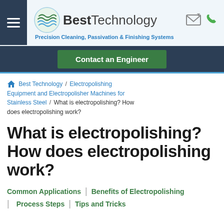Best Technology — Precision Cleaning, Passivation & Finishing Systems
Contact an Engineer
Best Technology / Electropolishing Equipment and Electropolisher Machines for Stainless Steel / What is electropolishing? How does electropolishing work?
What is electropolishing? How does electropolishing work?
Common Applications
Benefits of Electropolishing
Process Steps
Tips and Tricks